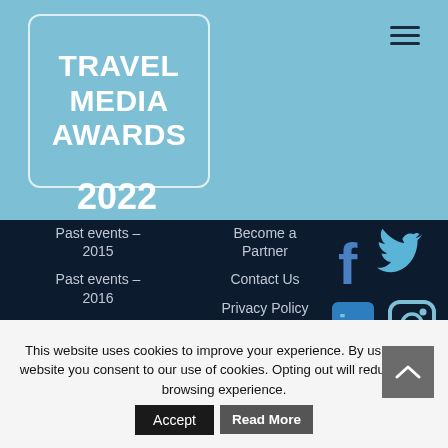[Figure (logo): Travel Media Awards 2022 logo in white text on light blue background with rounded rectangle border]
Past events – 2015
Past events – 2016
Past events – 2017
Become a Partner
Contact Us
Privacy Policy and Cookies
[Figure (infographic): Social media icons: Facebook, Twitter, LinkedIn, Instagram in blue on dark navy background]
This website uses cookies to improve your experience. By using this website you consent to our use of cookies. Opting out will reduce your browsing experience.
Accept
Read More